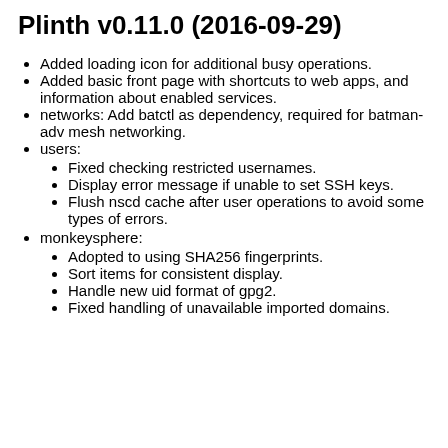Plinth v0.11.0 (2016-09-29)
Added loading icon for additional busy operations.
Added basic front page with shortcuts to web apps, and information about enabled services.
networks: Add batctl as dependency, required for batman-adv mesh networking.
users:
Fixed checking restricted usernames.
Display error message if unable to set SSH keys.
Flush nscd cache after user operations to avoid some types of errors.
monkeysphere:
Adopted to using SHA256 fingerprints.
Sort items for consistent display.
Handle new uid format of gpg2.
Fixed handling of unavailable imported domains.